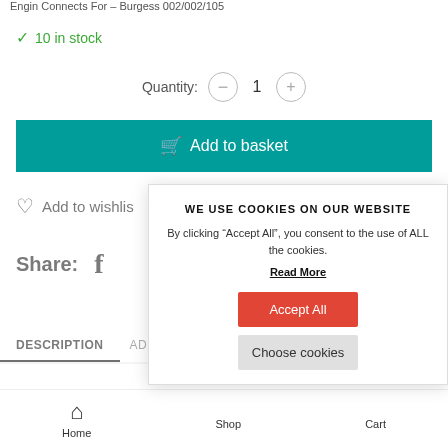Engin Connects For – Burgess 002/002/105
✓ 10 in stock
Quantity: − 1 +
🛒 Add to basket
♡ Add to wishlist
Share:  f
DESCRIPTION   AD
WE USE COOKIES ON OUR WEBSITE
By clicking "Accept All", you consent to the use of ALL the cookies.
Read More
Accept All
Choose cookies
Home   Shop   Cart